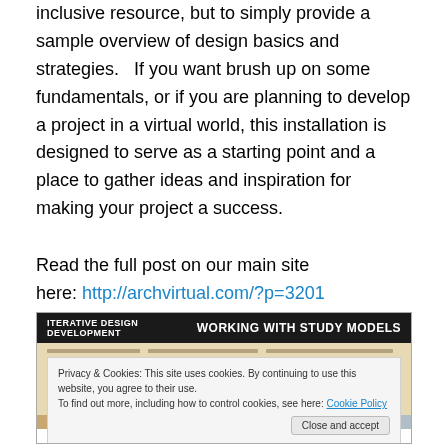inclusive resource, but to simply provide a sample overview of design basics and strategies.   If you want brush up on some fundamentals, or if you are planning to develop a project in a virtual world, this installation is designed to serve as a starting point and a place to gather ideas and inspiration for making your project a success.
Read the full post on our main site here: http://archvirtual.com/?p=3201
[Figure (screenshot): Screenshot of a document page with dark header reading 'ITERATIVE DESIGN DEVELOPMENT' on the left and 'WORKING WITH STUDY MODELS' on the right, with tan/beige document content below showing small text lines. A cookie consent overlay appears at the bottom with text 'Privacy & Cookies: This site uses cookies. By continuing to use this website, you agree to their use. To find out more, including how to control cookies, see here: Cookie Policy' and a 'Close and accept' button.]